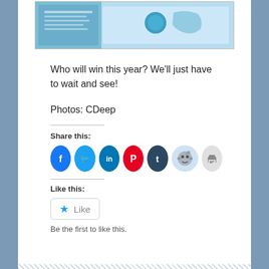[Figure (photo): Outdoor informational sign/board with blue and white design, appears to be about Lake Illawarra Trophy or similar lake/water topic. Sign has map and text panels visible.]
Who will win this year? We'll just have to wait and see!
Photos: CDeep
Share this:
[Figure (infographic): Row of social media sharing icons: Facebook (blue), Twitter (light blue), LinkedIn (blue), Pinterest (red), Tumblr (dark navy), Reddit (light blue), Print (light gray)]
Like this:
[Figure (infographic): Like button widget with blue star icon and 'Like' text in a rounded rectangle border]
Be the first to like this.